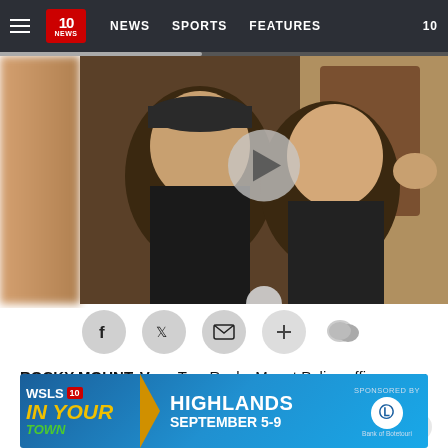10 NEWS | NEWS | SPORTS | FEATURES | 10
[Figure (screenshot): Video thumbnail showing two men taking a selfie inside what appears to be the U.S. Capitol building, with a play button overlay]
[Figure (infographic): Social media sharing icons: Facebook, Twitter, Email, Plus, Comment]
ROCKY MOUNT, Va. – Two Rocky Mount Police officers now face federal charges in connection with last Wednesday's events at the U.S. Capitol.
[Figure (infographic): Advertisement banner: WSLS 10 In Your Town - Highlands September 5-9, Sponsored by Bank of Botetourt]